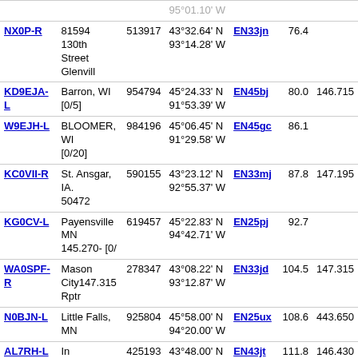| Callsign | Location | Node | Coordinates | Grid | Dist | Freq |
| --- | --- | --- | --- | --- | --- | --- |
| NX0P-R | 81594 130th Street Glenvill | 513917 | 43°32.64' N 93°14.28' W | EN33jn | 76.4 |  |
| KD9EJA-L | Barron, WI [0/5] | 954794 | 45°24.33' N 91°53.39' W | EN45bj | 80.0 | 146.715 |
| W9EJH-L | BLOOMER, WI [0/20] | 984196 | 45°06.45' N 91°29.58' W | EN45gc | 86.1 |  |
| KC0VII-R | St. Ansgar, IA. 50472 | 590155 | 43°23.12' N 92°55.37' W | EN33mj | 87.8 | 147.195 |
| KG0CV-L | Payensville MN 145.270- [0/ | 619457 | 45°22.83' N 94°42.71' W | EN25pj | 92.7 |  |
| WA0SPF-R | Mason City147.315 Rptr | 278347 | 43°08.22' N 93°12.87' W | EN33jd | 104.5 | 147.315 |
| N0BJN-L | Little Falls, MN | 925804 | 45°58.00' N 94°20.00' W | EN25ux | 108.6 | 443.650 |
| AL7RH-L | In Conference KF9CP-L | 425193 | 43°48.00' N 91°12.20' W | EN43jt | 111.8 | 146.430 |
| W0UJ-R | Brainerd, MN | 233515 | 46°29.00' N 93°57.30' W | EN36al | 133.3 | 147.225 |
| KA9WDX-L | Bernie Medford, WI | 590080 | 45°08.29' N 90°20.54' W | EN45td | 140.5 | 433.000 |
| WA9KLM-L | [offline] | 979423 | 46°43.26' N 92°04.85' W | EN36xr | 152.1 | 146.520 |
| N0MPM-L | Pella, IA | 50219 | 42°25.50' N 92°55.47' W | EN32mk | 153.9 | 145.170 |
| W9JAR-R | Friendship, WI | 841112 | 43°59.90' N | EN53ax | 161.1 | 147.030 |